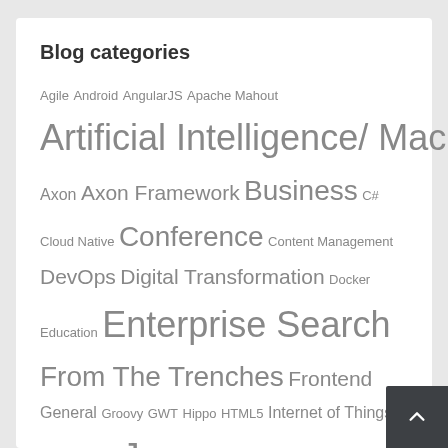Blog categories
Agile Android AngularJS Apache Mahout Artificial Intelligence/ Machine Learning Axon Axon Framework Business C# Cloud Native Conference Content Management DevOps Digital Transformation Docker Education Enterprise Search From The Trenches Frontend General Groovy GWT Hippo HTML5 Internet of Things iPad iPhone Java Knowledge Kotlin Liferay Magnolia Microservices Mobile Newsletter NoSQL NoSQL & Search Objective C Recruitment